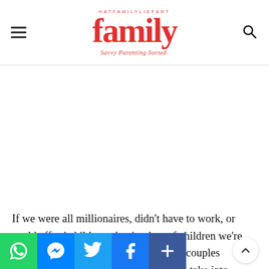family - Savvy Parenting Sorted
If we were all millionaires, didn't have to work, or could afford childcare, having lots of children we're sure would be at the forefront of many couples agendas. But now there is a wh… to take into account before adding to your family, however,